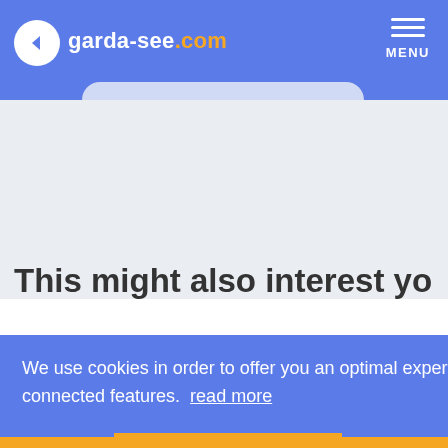garda-see.com
This might also interest you
We use cookies in order to offer you an optimal experience when using this website and the connected features.  read more
Deny   Allow